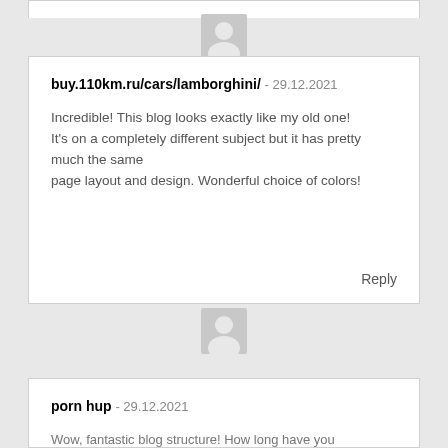[Figure (illustration): Generic gray user avatar placeholder icon (person silhouette)]
buy.110km.ru/cars/lamborghini/ - 29.12.2021

Incredible! This blog looks exactly like my old one! It's on a completely different subject but it has pretty much the same
page layout and design. Wonderful choice of colors!

Reply
[Figure (illustration): Generic gray user avatar placeholder icon (person silhouette)]
porn hup - 29.12.2021

Wow, fantastic blog structure! How long have you